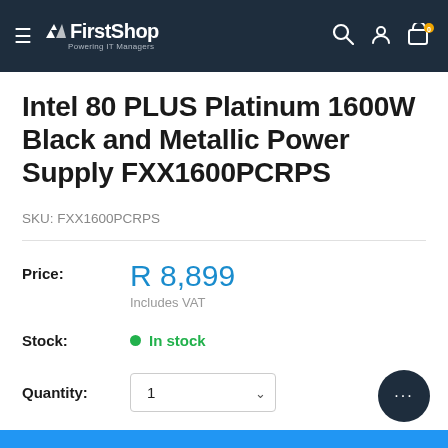FirstShop — Powering IT Managers
Intel 80 PLUS Platinum 1600W Black and Metallic Power Supply FXX1600PCRPS
SKU: FXX1600PCRPS
Price: R 8,899 Includes VAT
Stock: In stock
Quantity: 1